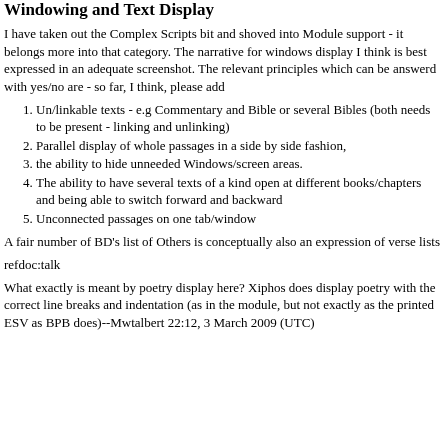Windowing and Text Display
I have taken out the Complex Scripts bit and shoved into Module support - it belongs more into that category. The narrative for windows display I think is best expressed in an adequate screenshot. The relevant principles which can be answerd with yes/no are - so far, I think, please add
Un/linkable texts - e.g Commentary and Bible or several Bibles (both needs to be present - linking and unlinking)
Parallel display of whole passages in a side by side fashion,
the ability to hide unneeded Windows/screen areas.
The ability to have several texts of a kind open at different books/chapters and being able to switch forward and backward
Unconnected passages on one tab/window
A fair number of BD's list of Others is conceptually also an expression of verse lists
refdoc:talk
What exactly is meant by poetry display here? Xiphos does display poetry with the correct line breaks and indentation (as in the module, but not exactly as the printed ESV as BPB does)--Mwtalbert 22:12, 3 March 2009 (UTC)